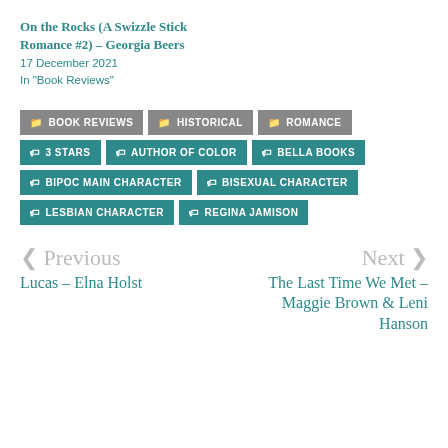On the Rocks (A Swizzle Stick Romance #2) – Georgia Beers
17 December 2021
In "Book Reviews"
BOOK REVIEWS  HISTORICAL  ROMANCE  3 STARS  AUTHOR OF COLOR  BELLA BOOKS  BIPOC MAIN CHARACTER  BISEXUAL CHARACTER  LESBIAN CHARACTER  REGINA JAMISON
< Previous
Lucas – Elna Holst
Next >
The Last Time We Met – Maggie Brown & Leni Hanson